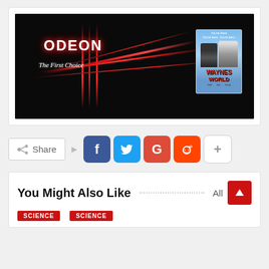[Figure (photo): ODEON cinema neon sign with red laser beams on dark background, with Wayne's World movie poster overlaid in top right corner]
Share
[Figure (infographic): Social share buttons: Facebook (blue), Twitter (light blue), Google+ (red), Reddit (orange-red), and a plus/more button]
You Might Also Like
SCIENCE
SCIENCE